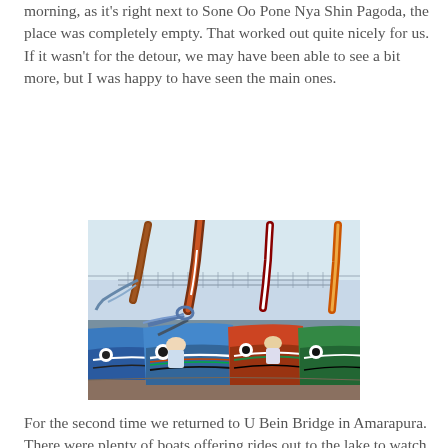morning, as it's right next to Sone Oo Pone Nya Shin Pagoda, the place was completely empty. That worked out quite nicely for us. If it wasn't for the detour, we may have been able to see a bit more, but I was happy to have seen the main ones.
[Figure (photo): Colorful traditional Burmese boats with painted prows moored at a lakeside dock near U Bein Bridge in Amarapura, Myanmar. The boats have decorative fish-eye motifs and multicolored stripes. Two boatmen are visible seated in the boats.]
For the second time we returned to U Bein Bridge in Amarapura. There were plenty of boats offering rides out to the lake to watch sunset. We walked along the bridge to the middle and waited for sunset on a cart:)